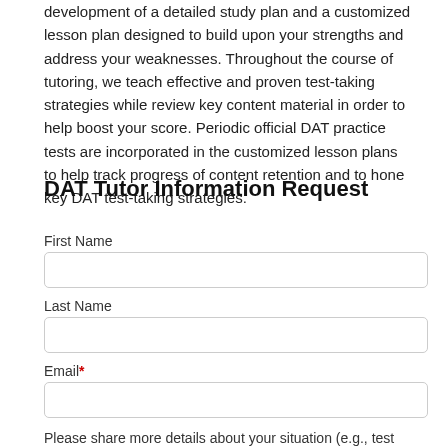development of a detailed study plan and a customized lesson plan designed to build upon your strengths and address your weaknesses. Throughout the course of tutoring, we teach effective and proven test-taking strategies while review key content material in order to help boost your score. Periodic official DAT practice tests are incorporated in the customized lesson plans to help track progress of content retention and to hone key DAT test-taking strategies.
DAT Tutor Information Request
First Name
Last Name
Email*
Please share more details about your situation (e.g., test date, preference for in-person vs. online, availability, materials being used, specific strengths/weaknesses, etc.)